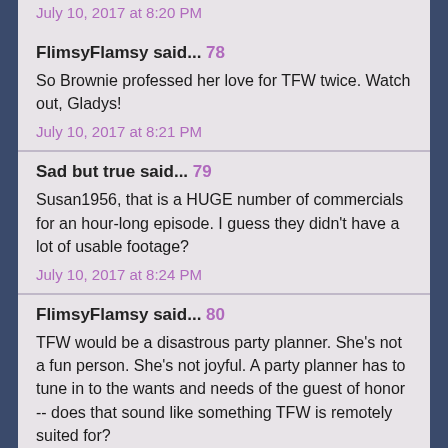July 10, 2017 at 8:20 PM
FlimsyFlamsy said... 78
So Brownie professed her love for TFW twice. Watch out, Gladys!
July 10, 2017 at 8:21 PM
Sad but true said... 79
Susan1956, that is a HUGE number of commercials for an hour-long episode. I guess they didn't have a lot of usable footage?
July 10, 2017 at 8:24 PM
FlimsyFlamsy said... 80
TFW would be a disastrous party planner. She's not a fun person. She's not joyful. A party planner has to tune in to the wants and needs of the guest of honor -- does that sound like something TFW is remotely suited for?
The only time TFW seems really, truly happy is